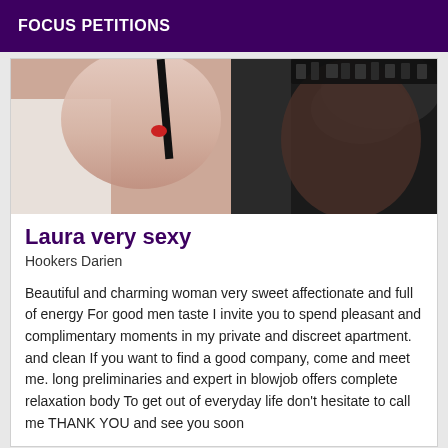FOCUS PETITIONS
[Figure (photo): Close-up photo of a woman wearing black lingerie and stockings]
Laura very sexy
Hookers Darien
Beautiful and charming woman very sweet affectionate and full of energy For good men taste I invite you to spend pleasant and complimentary moments in my private and discreet apartment. and clean If you want to find a good company, come and meet me. long preliminaries and expert in blowjob offers complete relaxation body To get out of everyday life don't hesitate to call me THANK YOU and see you soon